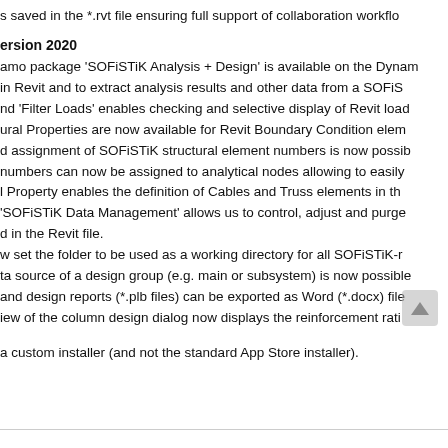s saved in the *.rvt file ensuring full support of collaboration workflo
ersion 2020
amo package 'SOFiSTiK Analysis + Design' is available on the Dynam in Revit and to extract analysis results and other data from a SOFi d 'Filter Loads' enables checking and selective display of Revit load ural Properties are now available for Revit Boundary Condition elem d assignment of SOFiSTiK structural element numbers is now possib numbers can now be assigned to analytical nodes allowing to easily l Property enables the definition of Cables and Truss elements in th 'SOFiSTiK Data Management' allows us to control, adjust and purge d in the Revit file. w set the folder to be used as a working directory for all SOFiSTiK-r ta source of a design group (e.g. main or subsystem) is now possible and design reports (*.plb files) can be exported as Word (*.docx) file iew of the column design dialog now displays the reinforcement rati
a custom installer (and not the standard App Store installer).